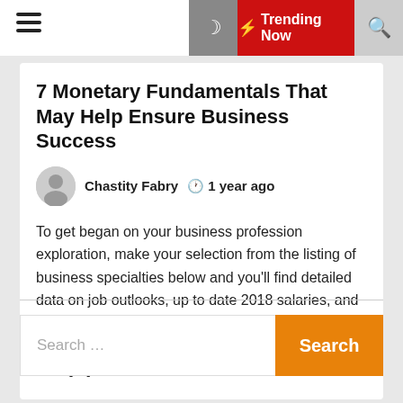Trending Now
7 Monetary Fundamentals That May Help Ensure Business Success
Chastity Fabry  1 year ago
To get began on your business profession exploration, make your selection from the listing of business specialties below and you’ll find detailed data on job outlooks, up to date 2018 salaries, and coaching requirements for a profession in business. Take your time and skim via the entire materials we offer […]
Search ...